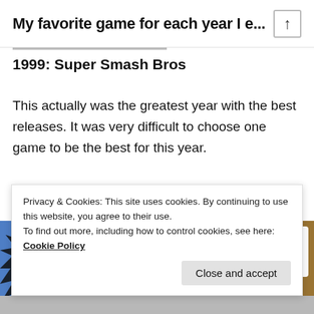My favorite game for each year I e...
1999: Super Smash Bros
This actually was the greatest year with the best releases. It was very difficult to choose one game to be the best for this year.
[Figure (photo): Super Smash Bros Nintendo 64 game box art / logo with colorful text on blue background and Nintendo 64 logo in upper right corner]
Privacy & Cookies: This site uses cookies. By continuing to use this website, you agree to their use.
To find out more, including how to control cookies, see here: Cookie Policy
Close and accept